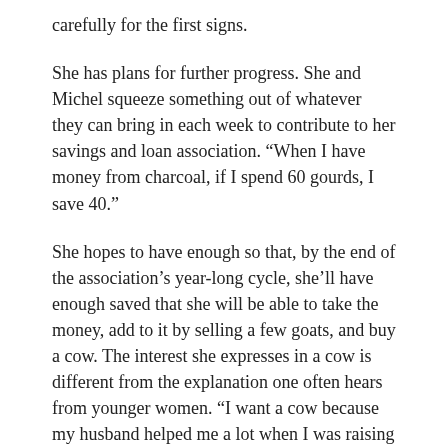carefully for the first signs.
She has plans for further progress. She and Michel squeeze something out of whatever they can bring in each week to contribute to her savings and loan association. “When I have money from charcoal, if I spend 60 gourds, I save 40.”
She hopes to have enough so that, by the end of the association’s year-long cycle, she’ll have enough saved that she will be able to take the money, add to it by selling a few goats, and buy a cow. The interest she expresses in a cow is different from the explanation one often hears from younger women. “I want a cow because my husband helped me a lot when I was raising my kids, but just one of them is his. If he dies, a cow will help me pay for his funeral.”
But she worries about making progress, too, because she worries about the jealousy it can lead to. “When folks see you have, they envy that, they start to kill them. Me by she…”